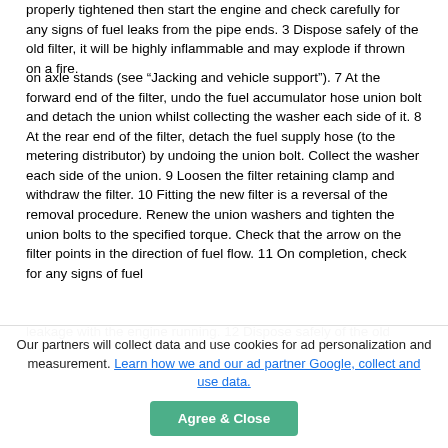properly tightened then start the engine and check carefully for any signs of fuel leaks from the pipe ends. 3 Dispose safely of the old filter, it will be highly inflammable and may explode if thrown on a fire.
on axle stands (see “Jacking and vehicle support”). 7 At the forward end of the filter, undo the fuel accumulator hose union bolt and detach the union whilst collecting the washer each side of it. 8 At the rear end of the filter, detach the fuel supply hose (to the metering distributor) by undoing the union bolt. Collect the washer each side of the union. 9 Loosen the filter retaining clamp and withdraw the filter. 10 Fitting the new filter is a reversal of the removal procedure. Renew the union washers and tighten the union bolts to the specified torque. Check that the arrow on the filter points in the direction of fuel flow. 11 On completion, check for any signs of fuel
leakage with the engine running. 12 Dispose safely of the old...
Our partners will collect data and use cookies for ad personalization and measurement. Learn how we and our ad partner Google, collect and use data.
Agree & Close